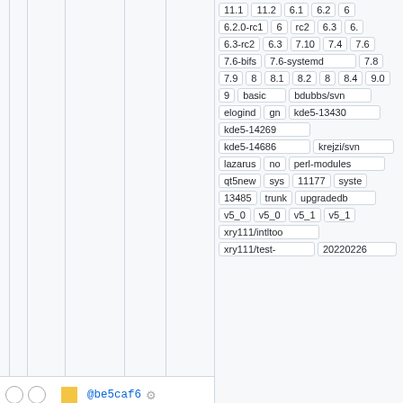|  |  |  | commit | age | author | tags |
| --- | --- | --- | --- | --- | --- | --- |
| ○ ○ | ■ | @be5caf6 ⚙ | 20 years | larry | 11.1 11.2 6.1 6.2 6.2.0-rc1 rc2 6.3 6.3-rc2 6.3 7.10 7.4 7.6 7.6-bifs 7.6-systemd 7.8 7.9 8 8.1 8.2 8 8.4 9.0 9 basic bdubbs/svn elogind gn kde5-13430 kde5-14269 kde5-14686 krejzi/svn lazarus no perl-modules qt5new sys 11177 syste 13485 trunk upgradedb v5_0 v5_0 v5_1 v5_1 xry111/intltoo xry111/test- 20220226 |